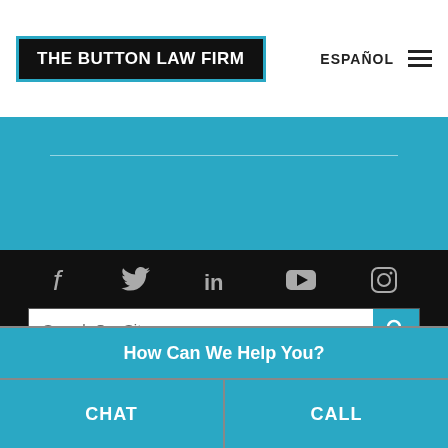THE BUTTON LAW FIRM
ESPAÑOL
Search Our Site
©2022 The Button Law Firm, PLLC, All Rights Reserved, Reproduced with Permission Privacy Policy
Website Built by Foster Web Marketing Foster Web
Marketing | Website Powered By
How Can We Help You?
CHAT
CALL